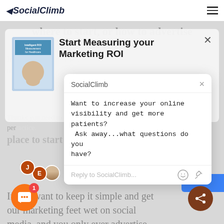SocialClimb
where to start, or how to advertise on TikTok, Instagram, that's where ads news
[Figure (screenshot): SocialClimb popup overlay with book cover image and title 'Start Measuring your Marketing ROI']
SocialClimb
Want to increase your online visibility and get more patients? Ask away...what questions do you have?
Reply to SocialClimb...
Thanks you need to know a complete digest white paper practice. place to start
If you want to keep it simple and get our marketing feet wet on social media, and you only ever advertise on Facebook, you have a great